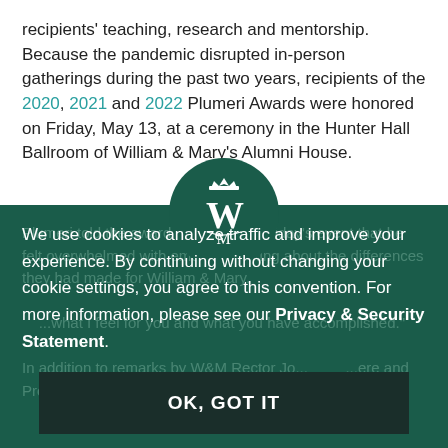recipients' teaching, research and mentorship. Because the pandemic disrupted in-person gatherings during the past two years, recipients of the 2020, 2021 and 2022 Plumeri Awards were honored on Friday, May 13, at a ceremony in the Hunter Hall Ballroom of William & Mary's Alumni House.
[Figure (logo): William & Mary monogram logo in white on dark green circular background]
We use cookies to analyze traffic and improve your experience. By continuing without changing your cookie settings, you agree to this convention. For more information, please see our Privacy & Security Statement.
OK, GOT IT